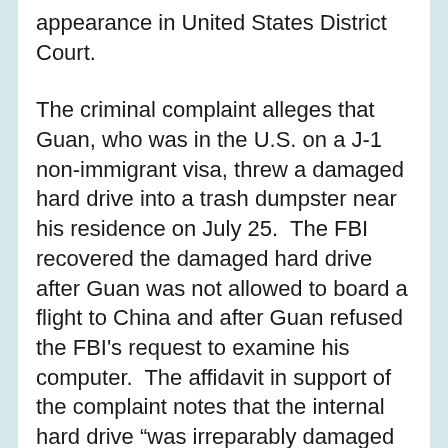appearance in United States District Court.
The criminal complaint alleges that Guan, who was in the U.S. on a J-1 non-immigrant visa, threw a damaged hard drive into a trash dumpster near his residence on July 25. The FBI recovered the damaged hard drive after Guan was not allowed to board a flight to China and after Guan refused the FBI's request to examine his computer. The affidavit in support of the complaint notes that the internal hard drive “was irreparably damaged and that all previous data associated with the hard drive appears to have been removed deliberately and by force.”
According to the complaint, Guan is being investigated for possibly transferring sensitive